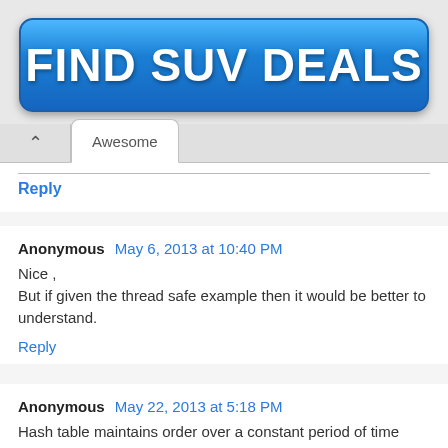[Figure (other): Blue gradient advertisement banner button with bold white text reading FIND SUV DEALS]
Awesome
Reply
Anonymous May 6, 2013 at 10:40 PM
Nice ,
But if given the thread safe example then it would be better to understand.
Reply
Anonymous May 22, 2013 at 5:18 PM
Hash table maintains order over a constant period of time whereas hash map doesnot mantian order